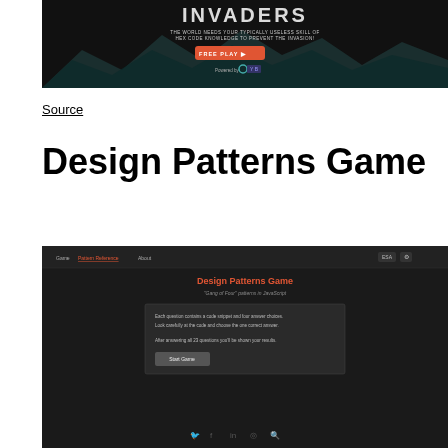[Figure (screenshot): Dark-themed game screenshot showing 'INVADERS' title with subtitle 'THE WORLD NEEDS YOUR TYPICALLY USELESS SKILL OF HEX CODE KNOWLEDGE TO PREVENT THE INVASION!', a red FREE PLAY button, and Powered by logo]
Source
Design Patterns Game
[Figure (screenshot): Dark-themed Design Patterns Game web app screenshot showing navigation bar with Game, Pattern Reference, About links, the title 'Design Patterns Game', subtitle 'Gang of Four patterns in JavaScript', an info box explaining each question contains a code snippet and four answer choices, a Start Game button, and social media icons at bottom]